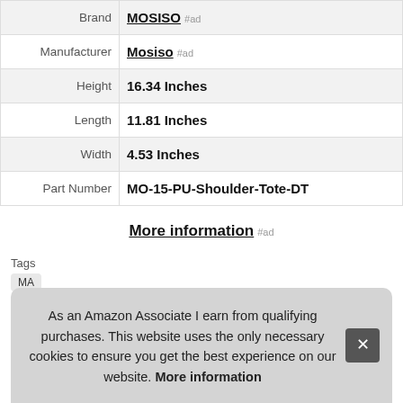| Label | Value |
| --- | --- |
| Brand | MOSISO #ad |
| Manufacturer | Mosiso #ad |
| Height | 16.34 Inches |
| Length | 11.81 Inches |
| Width | 4.53 Inches |
| Part Number | MO-15-PU-Shoulder-Tote-DT |
More information #ad
Tags
MA
As an Amazon Associate I earn from qualifying purchases. This website uses the only necessary cookies to ensure you get the best experience on our website. More information